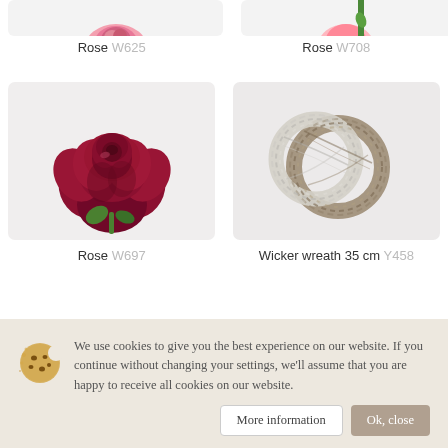[Figure (photo): Partial top view of Rose W625 product image (cropped at top)]
Rose W625
[Figure (photo): Partial top view of Rose W708 product image (cropped at top)]
Rose W708
[Figure (photo): Deep red/crimson rose flower - Rose W697]
Rose W697
[Figure (photo): Wicker wreath 35 cm - two woven circular wreaths, one white/silver and one brown/grey]
Wicker wreath 35 cm Y458
We use cookies to give you the best experience on our website. If you continue without changing your settings, we'll assume that you are happy to receive all cookies on our website.